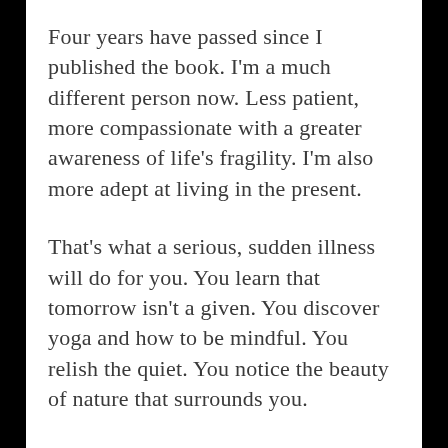Four years have passed since I published the book. I'm a much different person now. Less patient, more compassionate with a greater awareness of life's fragility. I'm also more adept at living in the present.
That's what a serious, sudden illness will do for you. You learn that tomorrow isn't a given. You discover yoga and how to be mindful. You relish the quiet. You notice the beauty of nature that surrounds you.
You give thanks for simple but vital things– breathing, a strong heart, a loving husband, friends and family near and far, affordable